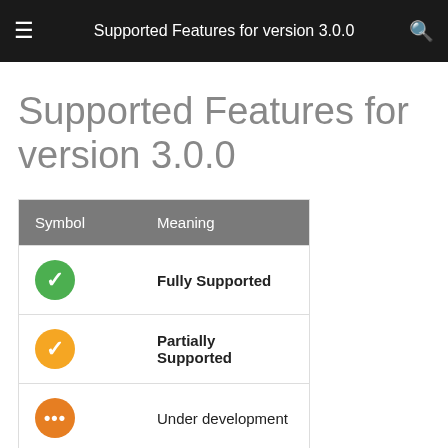Supported Features for version 3.0.0
Supported Features for version 3.0.0
| Symbol | Meaning |
| --- | --- |
| ✓ (green) | Fully Supported |
| ✓ (yellow) | Partially Supported |
| ... (orange) | Under development |
| ✗ (red) | (cut off) |